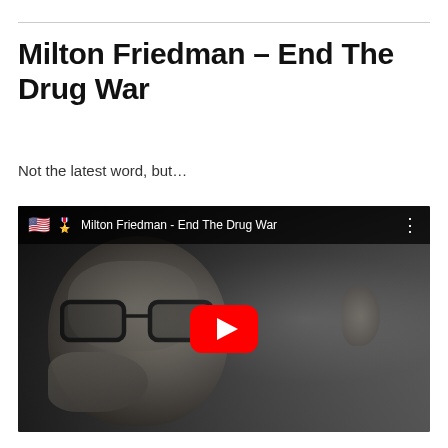Milton Friedman – End The Drug War
Not the latest word, but…
[Figure (screenshot): YouTube video thumbnail showing Milton Friedman in black and white, titled 'Milton Friedman – End The Drug War', with a red YouTube play button overlay and US flag icon in the top bar.]